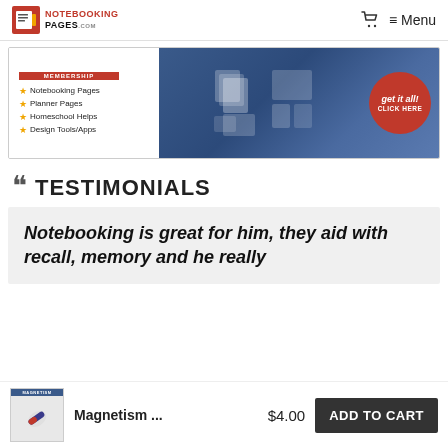NOTEBOOKING PAGES
[Figure (infographic): Membership banner ad with bullet list (Notebooking Pages, Planner Pages, Homeschool Helps, Design Tools/Apps) and a 'get it all! CLICK HERE' badge]
TESTIMONIALS
Notebooking is great for him, they aid with recall, memory and he really
Magnetism ... $4.00  ADD TO CART